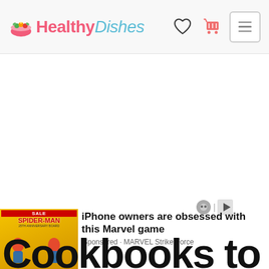[Figure (screenshot): HealthyDishes website header with logo, heart icon, shopping cart icon, and hamburger menu button]
[Figure (screenshot): Large white blank content area below the header]
[Figure (screenshot): Ad banner overlay at bottom: Spider-Man game ad with text 'iPhone owners are obsessed with this Marvel game' sponsored by MARVEL Strike Force, overlapped by large bold text 'Cookbooks to Find']